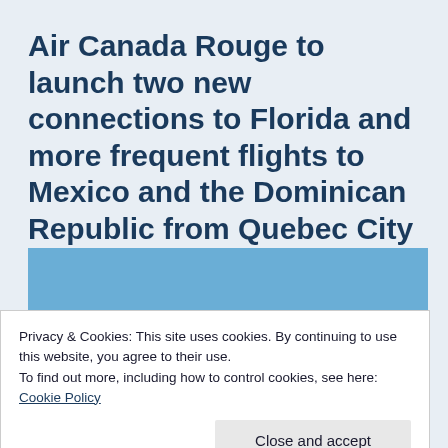Air Canada Rouge to launch two new connections to Florida and more frequent flights to Mexico and the Dominican Republic from Quebec City
[Figure (photo): Partial photo of an Air Canada Rouge aircraft, mostly obscured by a cookie consent overlay. Upper portion shows light blue sky background.]
Privacy & Cookies: This site uses cookies. By continuing to use this website, you agree to their use.
To find out more, including how to control cookies, see here: Cookie Policy
Close and accept